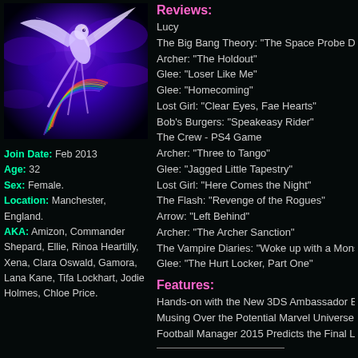[Figure (illustration): Purple fantasy bird/phoenix with rainbow and clouds against dark purple sky]
Join Date: Feb 2013
Age: 32
Sex: Female.
Location: Manchester, England.
AKA: Amizon, Commander Shepard, Ellie, Rinoa Heartilly, Xena, Clara Oswald, Gamora, Lana Kane, Tifa Lockhart, Jodie Holmes, Chloe Price.
Reviews:
Lucy
The Big Bang Theory: "The Space Probe Di…
Archer: "The Holdout"
Glee: "Loser Like Me"
Glee: "Homecoming"
Lost Girl: "Clear Eyes, Fae Hearts"
Bob's Burgers: "Speakeasy Rider"
The Crew - PS4 Game
Archer: "Three to Tango"
Glee: "Jagged Little Tapestry"
Lost Girl: "Here Comes the Night"
The Flash: "Revenge of the Rogues"
Arrow: "Left Behind"
Archer: "The Archer Sanction"
The Vampire Diaries: "Woke up with a Mons…
Glee: "The Hurt Locker, Part One"
Features:
Hands-on with the New 3DS Ambassador Ed…
Musing Over the Potential Marvel Universe M…
Football Manager 2015 Predicts the Final Le…